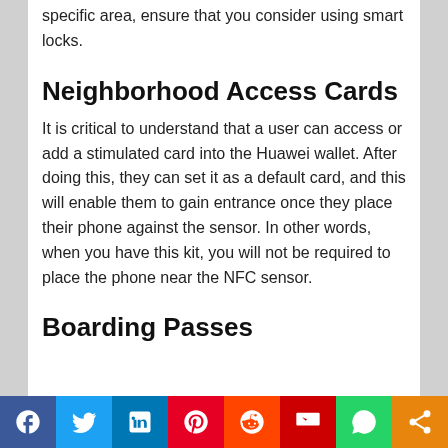specific area, ensure that you consider using smart locks.
Neighborhood Access Cards
It is critical to understand that a user can access or add a stimulated card into the Huawei wallet. After doing this, they can set it as a default card, and this will enable them to gain entrance once they place their phone against the sensor. In other words, when you have this kit, you will not be required to place the phone near the NFC sensor.
Boarding Passes